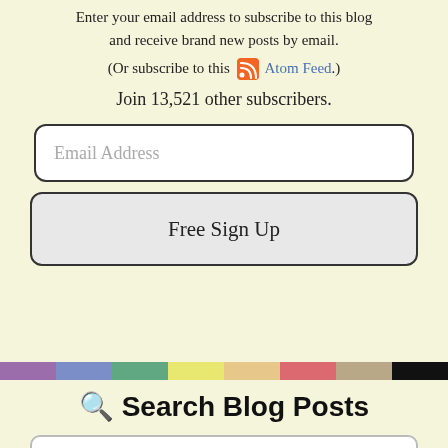Enter your email address to subscribe to this blog and receive brand new posts by email. (Or subscribe to this Atom Feed.)
Join 13,521 other subscribers.
[Figure (other): Email address input field with placeholder text 'Email Address']
[Figure (other): Free Sign Up button]
[Figure (other): Colorful horizontal bar with purple, blue, green, yellow, orange, red, tan, and black segments]
🔍 Search Blog Posts
[Figure (other): Search input box]